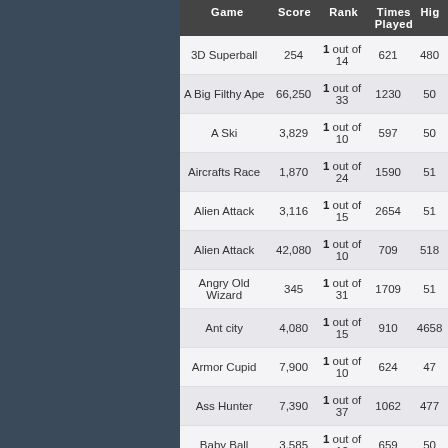| Game | Score | Rank | Times Played | Hig |
| --- | --- | --- | --- | --- |
| 3D Superball | 254 | 1 out of 14 | 621 | 480 |
| A Big Filthy Ape | 66,250 | 1 out of 33 | 1230 | 50 |
| A Ski | 3,829 | 1 out of 10 | 597 | 50 |
| Aircrafts Race | 1,870 | 1 out of 24 | 1590 | 51 |
| Alien Attack | 3,116 | 1 out of 15 | 2654 | 51 |
| Alien Attack | 42,080 | 1 out of 10 | 709 | 518 |
| Angry Old Wizard | 345 | 1 out of 31 | 1709 | 51 |
| Ant city | 4,080 | 1 out of 15 | 910 | 4658 |
| Armor Cupid | 7,900 | 1 out of 10 | 624 | 47 |
| Ass Hunter | 7,390 | 1 out of 37 | 1062 | 477 |
| Baby Ball | 3,585 | 1 out of 12 | 659 | 50 |
| Baby Destruction | 299 | 1 out of 6 | 673 | 5055 |